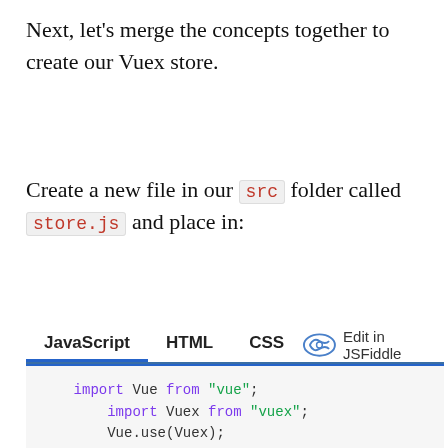Next, let’s merge the concepts together to create our Vuex store.
Create a new file in our src folder called store.js and place in:
[Figure (screenshot): Code editor tabs showing JavaScript, HTML, CSS tabs with Edit in JSFiddle link, and a code block showing Vuex store setup with import statements, Vue.use(Vuex), and const store = new Vuex.Store({ state: { users: [ {name: 'glo abredit', age: 27, ...}, {name: 'gia fella', age: 29, ...}, {name: 'ohaneze david', age: ...}, {name: 'paul david', age: 21, ...}, {name: 'john williams', age: ...}, {name: 'mary jekore', age: 29...} ] } }) with a Result label overlay]